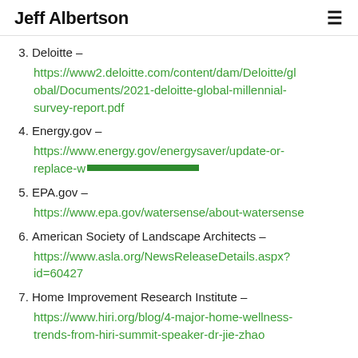Jeff Albertson
3. Deloitte – https://www2.deloitte.com/content/dam/Deloitte/global/Documents/2021-deloitte-global-millennial-survey-report.pdf
4. Energy.gov – https://www.energy.gov/energysaver/update-or-replace-windows
5. EPA.gov – https://www.epa.gov/watersense/about-watersense
6. American Society of Landscape Architects – https://www.asla.org/NewsReleaseDetails.aspx?id=60427
7. Home Improvement Research Institute – https://www.hiri.org/blog/4-major-home-wellness-trends-from-hiri-summit-speaker-dr-jie-zhao